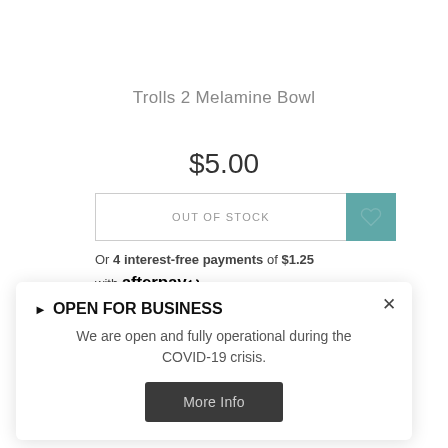Trolls 2 Melamine Bowl
$5.00
OUT OF STOCK
Or 4 interest-free payments of $1.25 with afterpay
OPEN FOR BUSINESS
We are open and fully operational during the COVID-19 crisis.
More Info